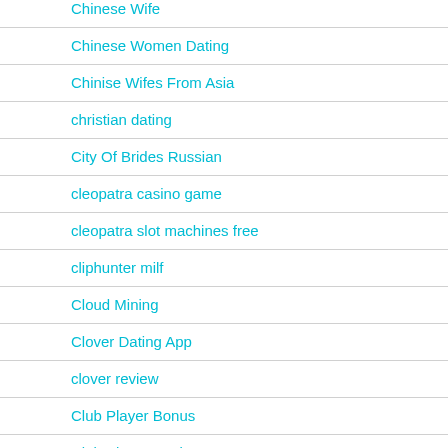Chinese Wife
Chinese Women Dating
Chinise Wifes From Asia
christian dating
City Of Brides Russian
cleopatra casino game
cleopatra slot machines free
cliphunter milf
Cloud Mining
Clover Dating App
clover review
Club Player Bonus
Club Player Casino